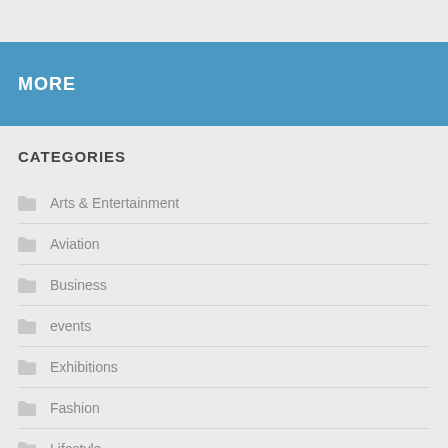MORE
CATEGORIES
Arts & Entertainment
Aviation
Business
events
Exhibitions
Fashion
Lifestyle
Music